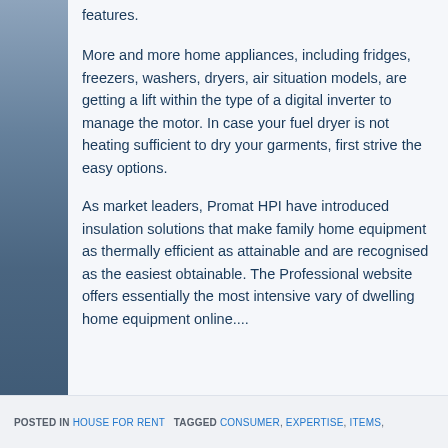features.
More and more home appliances, including fridges, freezers, washers, dryers, air situation models, are getting a lift within the type of a digital inverter to manage the motor. In case your fuel dryer is not heating sufficient to dry your garments, first strive the easy options.
As market leaders, Promat HPI have introduced insulation solutions that make family home equipment as thermally efficient as attainable and are recognised as the easiest obtainable. The Professional website offers essentially the most intensive vary of dwelling home equipment online....
POSTED IN HOUSE FOR RENT   TAGGED CONSUMER, EXPERTISE, ITEMS,